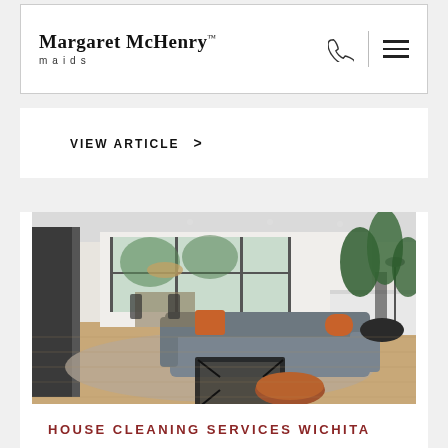Margaret McHenry™ maids
VIEW ARTICLE >
[Figure (photo): Bright modern living room with grey L-shaped sofa with orange cushions, wooden coffee table, large plant, and open-plan dining area visible in background]
HOUSE CLEANING SERVICES WICHITA